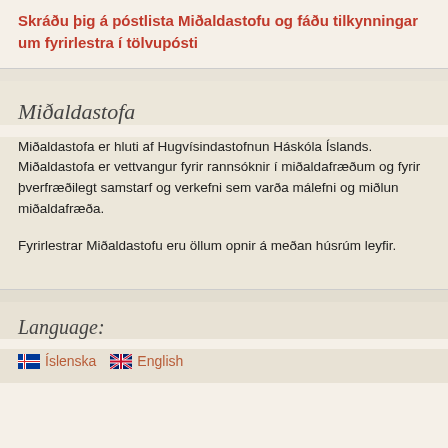Skráðu þig á póstlista Miðaldastofu og fáðu tilkynningar um fyrirlestra í tölvupósti
Miðaldastofa
Miðaldastofa er hluti af Hugvísindastofnun Háskóla Íslands. Miðaldastofa er vettvangur fyrir rannsóknir í miðaldafræðum og fyrir þverfræðilegt samstarf og verkefni sem varða málefni og miðlun miðaldafræða.
Fyrirlestrar Miðaldastofu eru öllum opnir á meðan húsrúm leyfir.
Language:
Íslenska   English